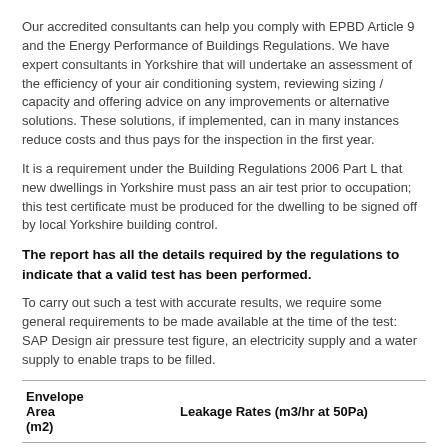Our accredited consultants can help you comply with EPBD Article 9 and the Energy Performance of Buildings Regulations. We have expert consultants in Yorkshire that will undertake an assessment of the efficiency of your air conditioning system, reviewing sizing / capacity and offering advice on any improvements or alternative solutions. These solutions, if implemented, can in many instances reduce costs and thus pays for the inspection in the first year.
It is a requirement under the Building Regulations 2006 Part L that new dwellings in Yorkshire must pass an air test prior to occupation; this test certificate must be produced for the dwelling to be signed off by local Yorkshire building control.
The report has all the details required by the regulations to indicate that a valid test has been performed.
To carry out such a test with accurate results, we require some general requirements to be made available at the time of the test: SAP Design air pressure test figure, an electricity supply and a water supply to enable traps to be filled.
| Envelope Area (m2) | Leakage Rates (m3/hr at 50Pa) |  |  |  |  |  |
| --- | --- | --- | --- | --- | --- | --- |
|  | 5 | 7.5 | 10 | 15 | 20 | 25 |
| 2000 | 0.51 | 0.76 | 1.01 | 1.52 | 2.03 | 2.54 |